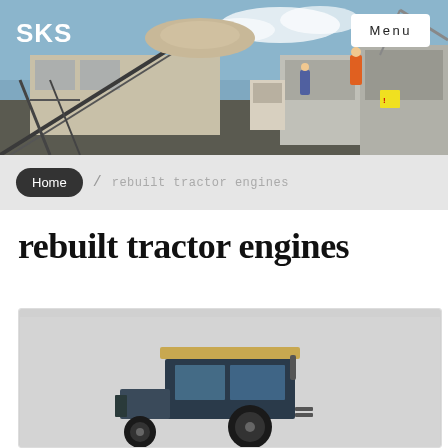[Figure (photo): Industrial aggregate processing plant with conveyor belts, machinery, workers in high-visibility vests, blue sky with clouds]
SKS
Menu
Home / rebuilt tractor engines
rebuilt tractor engines
[Figure (photo): Tractor cab/engine photo on light grey background, partially visible at bottom of page]